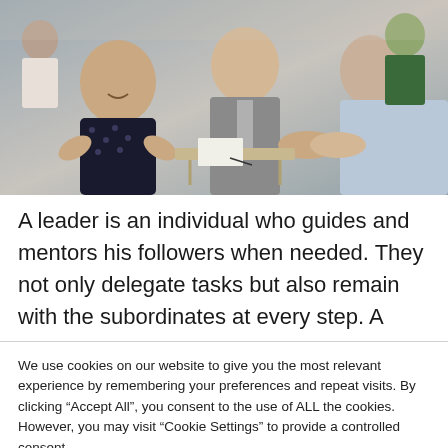[Figure (photo): Office scene with people shaking hands and others clapping in the background; a woman in a polka dot dress is smiling and applauding]
A leader is an individual who guides and mentors his followers when needed. They not only delegate tasks but also remain with the subordinates at every step. A
We use cookies on our website to give you the most relevant experience by remembering your preferences and repeat visits. By clicking “Accept All”, you consent to the use of ALL the cookies. However, you may visit “Cookie Settings” to provide a controlled consent.
Cookie Settings | Accept All